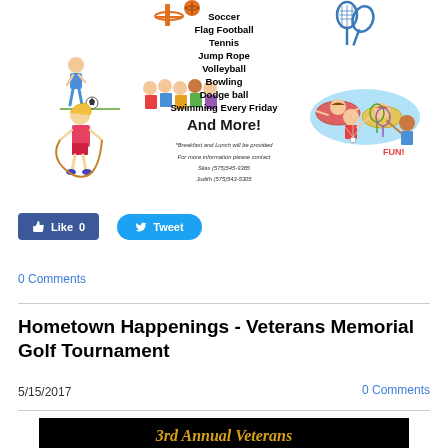[Figure (illustration): Sports activity flyer with cartoon clip-art illustrations of kids playing basketball, soccer, tennis, jump rope, swimming, bowling, badminton. Center text lists activities: Soccer, Flag Football, Tennis, Jump Rope, Volleyball, Bowling, Dodge ball, Swimming Every Friday, And More! Fine print: Breakfast and Lunch will be provided. For more information please contact Silas (575)545-9385 Judith (575)543-5305]
Like 0
Tweet
0 Comments
Hometown Happenings - Veterans Memorial Golf Tournament
5/15/2017
0 Comments
[Figure (illustration): Bottom banner image on black background with gold/yellow italic text reading '3rd Annual Veterans']